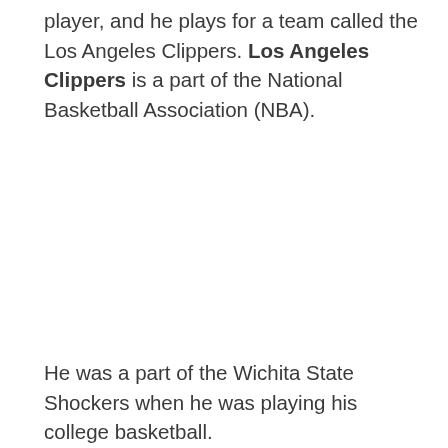player, and he plays for a team called the Los Angeles Clippers. Los Angeles Clippers is a part of the National Basketball Association (NBA).
He was a part of the Wichita State Shockers when he was playing his college basketball.